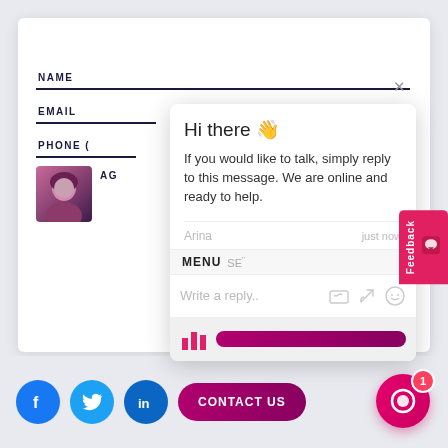Contact Us
NAME
EMAIL
PHONE (
[Figure (screenshot): Chat popup with greeting message: Hi there 👋, 'If you would like to talk, simply reply to this message. We are online and ready to help.' Sender: Arina, just now. Reply input area with icons. Menu bar with MENU and SE labels.]
Feedback
Write a reply..
Arina
just now
MENU
y
CONTACT US
[Figure (logo): Facebook icon - blue circle with white f]
[Figure (logo): Twitter icon - cyan circle with white bird]
[Figure (logo): LinkedIn icon - blue circle with white in]
[Figure (illustration): Chat launcher button - pink/magenta circle with chat icon and badge showing 1]